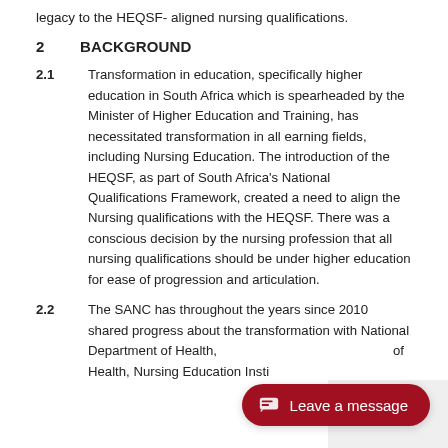legacy to the HEQSF- aligned nursing qualifications.
2      BACKGROUND
2.1      Transformation in education, specifically higher education in South Africa which is spearheaded by the Minister of Higher Education and Training, has necessitated transformation in all earning fields, including Nursing Education. The introduction of the HEQSF, as part of South Africa's National Qualifications Framework, created a need to align the Nursing qualifications with the HEQSF. There was a conscious decision by the nursing profession that all nursing qualifications should be under higher education for ease of progression and articulation.
2.2      The SANC has throughout the years since 2010 shared progress about the transformation with National Department of Health, of Health, Nursing Education Insti